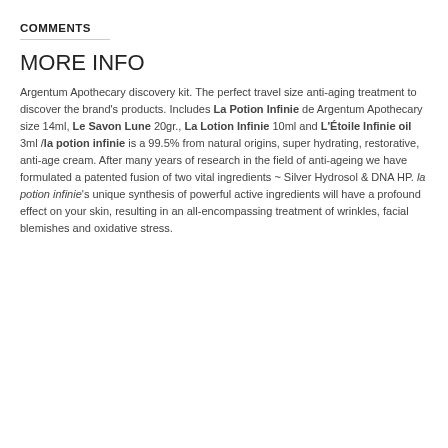COMMENTS
MORE INFO
Argentum Apothecary discovery kit. The perfect travel size anti-aging treatment to discover the brand's products. Includes La Potion Infinie de Argentum Apothecary size 14ml, Le Savon Lune 20gr., La Lotion Infinie 10ml and L'Étoile Infinie oil 3ml /la potion infinie is a 99.5% from natural origins, super hydrating, restorative, anti-age cream. After many years of research in the field of anti-ageing we have formulated a patented fusion of two vital ingredients ~ Silver Hydrosol & DNA HP. la potion infinie's unique synthesis of powerful active ingredients will have a profound effect on your skin, resulting in an all-encompassing treatment of wrinkles, facial blemishes and oxidative stress.